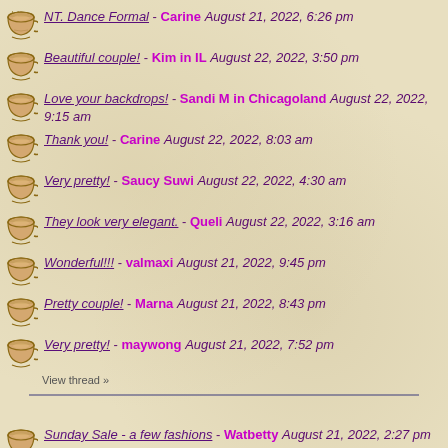NT. Dance Formal - Carine August 21, 2022, 6:26 pm
Beautiful couple! - Kim in IL August 22, 2022, 3:50 pm
Love your backdrops! - Sandi M in Chicagoland August 22, 2022, 9:15 am
Thank you! - Carine August 22, 2022, 8:03 am
Very pretty! - Saucy Suwi August 22, 2022, 4:30 am
They look very elegant. - Queli August 22, 2022, 3:16 am
Wonderful!!! - valmaxi August 21, 2022, 9:45 pm
Pretty couple! - Marna August 21, 2022, 8:43 pm
Very pretty! - maywong August 21, 2022, 7:52 pm
View thread »
Sunday Sale - a few fashions - Watbetty August 21, 2022, 2:27 pm